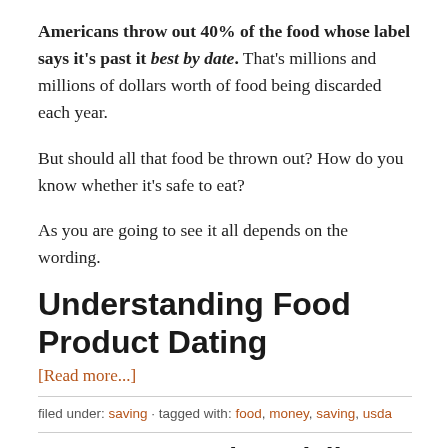Americans throw out 40% of the food whose label says it's past it best by date. That's millions and millions of dollars worth of food being discarded each year.
But should all that food be thrown out? How do you know whether it's safe to eat?
As you are going to see it all depends on the wording.
Understanding Food Product Dating
[Read more...]
filed under: saving · tagged with: food, money, saving, usda
How to Save Financially During Tough Times